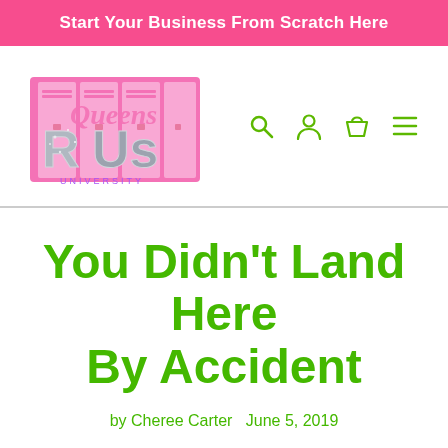Start Your Business From Scratch Here
[Figure (logo): Queens R Us University logo with pink lockers background and glittery letter styling, with green navigation icons (search, account, cart, menu)]
You Didn't Land Here By Accident
by Cheree Carter   June 5, 2019